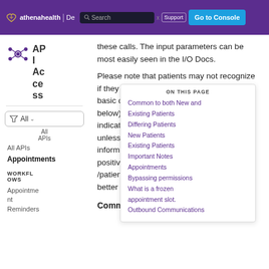athenahealth | De  Search  Support  Go to Console
[Figure (logo): athenahealth API Access logo with node graph icon]
API Access
All APIs
Appointments
WORKFLOWS
Appointment Reminders
these calls. The input parameters can be most easily seen in the I/O Docs.
Please note that patients may not recognize if they are "new" or "existing" (which is the basic distinction at step 5 of the workflows below). The patient experience shouldn't indicate if the patient was found or not, unless you are collecting sufficient information from the patient for a 100% positive match using /patients/ (or /patients/bestmatch, though the former is better at looking for exact positive matches)
ON THIS PAGE
Common to both New and Existing Patients
Differing Patients
New Patients
Existing Patients
Important Notes
Appointments
Bypassing permissions
What is a frozen appointment slot.
Outbound Communications
Common to both New and Existing